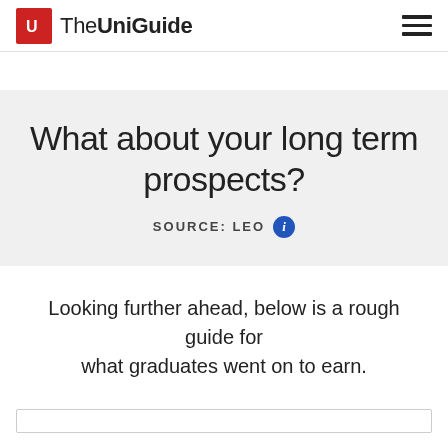The UniGuide
What about your long term prospects?
SOURCE: LEO
Looking further ahead, below is a rough guide for what graduates went on to earn.
SIMILAR COURSES